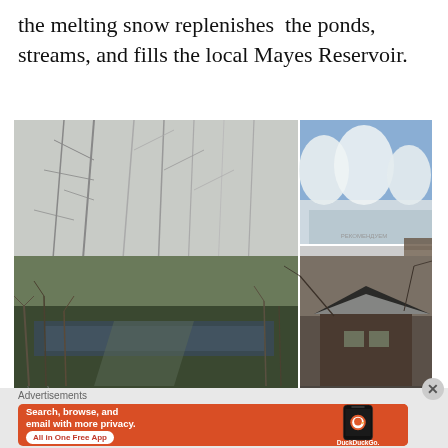the melting snow replenishes the ponds, streams, and fills the local Mayes Reservoir.
[Figure (photo): Grid of 4 winter nature photos: large snowy bare trees on left, top-right shows snow-covered trees with blue sky, middle-right shows a car buried in deep snow, bottom-left shows a frozen pond or stream with bare shrubs, bottom-right shows a snow-covered cabin roof with bare branches]
Advertisements
[Figure (photo): DuckDuckGo advertisement banner: orange background, white bold text 'Search, browse, and email with more privacy. All in One Free App' with white pill button, and a phone image with DuckDuckGo logo on the right]